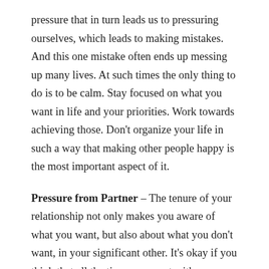pressure that in turn leads us to pressuring ourselves, which leads to making mistakes. And this one mistake often ends up messing up many lives. At such times the only thing to do is to be calm. Stay focused on what you want in life and your priorities. Work towards achieving those. Don't organize your life in such a way that making other people happy is the most important aspect of it.
Pressure from Partner – The tenure of your relationship not only makes you aware of what you want, but also about what you don't want, in your significant other. It's okay if you think that all the time you spent with a person cannot result in marriage. Committing to someone by getting married amplifies all facets of your relationship. Be it either love and respect or be it your problems with each other. If you're